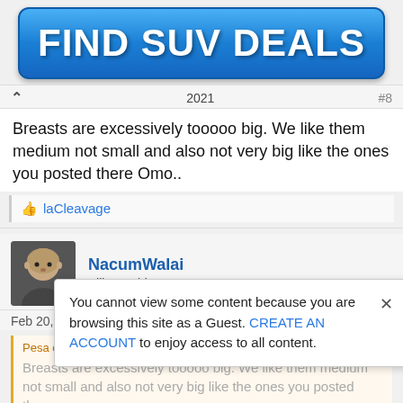[Figure (other): Blue button advertisement banner reading FIND SUV DEALS]
2021  #8
Breasts are excessively tooooo big. We like them medium not small and also not very big like the ones you posted there Omo..
laCleavage
[Figure (photo): Avatar photo of user NacumWalai, an older bald man]
NacumWalai
Village Elder
Feb 20, 2021  #9
Pesa connect said
Breasts are excessively tooooo big. We like them medium not small and also not very big like the ones you posted there
You cannot view some content because you are browsing this site as a Guest. CREATE AN ACCOUNT to enjoy access to all content.